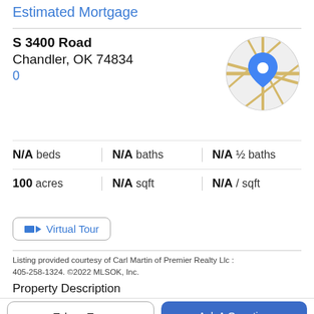Estimated Mortgage
S 3400 Road
Chandler, OK 74834
0
[Figure (map): Circular map thumbnail showing a location pin marker on a street map]
N/A beds | N/A baths | N/A ½ baths
100 acres | N/A sqft | N/A / sqft
Virtual Tour
Listing provided courtesy of Carl Martin of Premier Realty Llc : 405-258-1324. ©2022 MLSOK, Inc.
Property Description
Take a Tour
Ask A Question
hunting including Duck, Deer, Dove, and Turkey